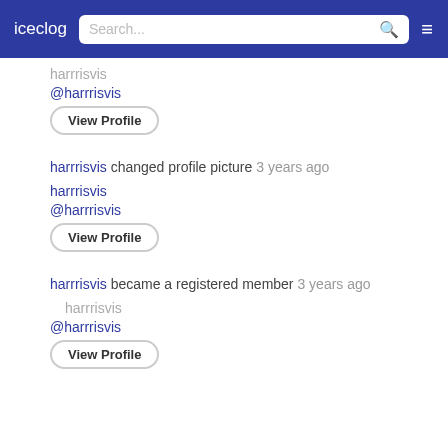iceclog | Search... | ≡
harrrisvis
@harrrisvis
View Profile
harrrisvis changed profile picture 3 years ago
harrrisvis
@harrrisvis
View Profile
harrrisvis became a registered member 3 years ago
harrrisvis
@harrrisvis
View Profile